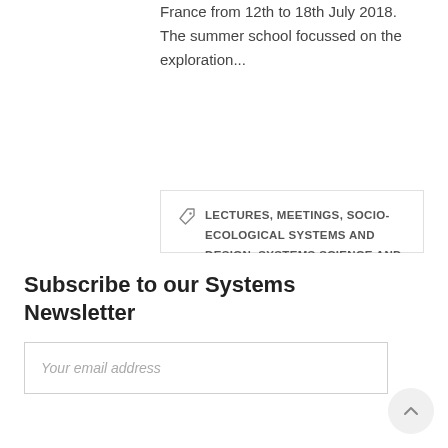France from 12th to 18th July 2018. The summer school focussed on the exploration...
LECTURES, MEETINGS, SOCIO-ECOLOGICAL SYSTEMS AND DESIGN, SYSTEMS SCIENCE AND PATTERN LITERACY
Subscribe to our Systems Newsletter
Your email address